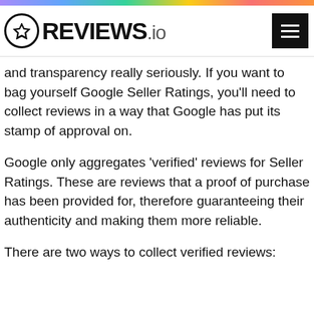REVIEWS.io
and transparency really seriously. If you want to bag yourself Google Seller Ratings, you'll need to collect reviews in a way that Google has put its stamp of approval on.
Google only aggregates 'verified' reviews for Seller Ratings. These are reviews that a proof of purchase has been provided for, therefore guaranteeing their authenticity and making them more reliable.
There are two ways to collect verified reviews: